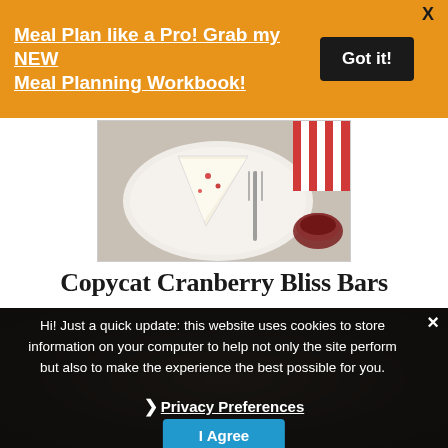Meal Plan like a Pro! Grab my NEW Meal Planning Workbook!
[Figure (photo): Photo of a cranberry bliss bar slice on a white plate with a fork, red striped napkin, and a small sauce bowl]
Copycat Cranberry Bliss Bars
Hi! Just a quick update: this website uses cookies to store information on your computer to help not only the site perform but also to make the experience the best possible for you.
❯ Privacy Preferences
I Agree